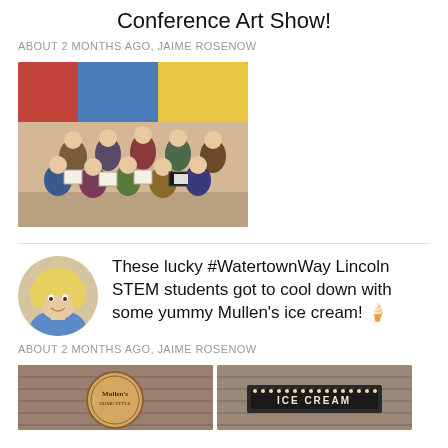Conference Art Show!
ABOUT 2 MONTHS AGO, JAIME ROSENOW
[Figure (photo): Group photo of students holding certificates/artwork in front of a colorful wall display]
[Figure (photo): Circular avatar portrait of a blonde woman smiling]
These lucky #WatertownWay Lincoln STEM students got to cool down with some yummy Mullen's ice cream! 🍦
ABOUT 2 MONTHS AGO, JAIME ROSENOW
[Figure (photo): Mullen's Home Style logo sign on brick wall]
[Figure (photo): ICE CREAM sign on brick wall]